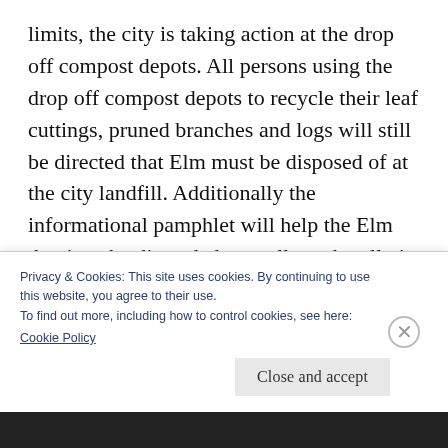limits, the city is taking action at the drop off compost depots. All persons using the drop off compost depots to recycle their leaf cuttings, pruned branches and logs will still be directed that Elm must be disposed of at the city landfill. Additionally the informational pamphlet will help the Elm that is to be discarded, actually and really is thrown into the city landfill.
A note! Please pay attention to your
Privacy & Cookies: This site uses cookies. By continuing to use this website, you agree to their use.
To find out more, including how to control cookies, see here:
Cookie Policy
Close and accept